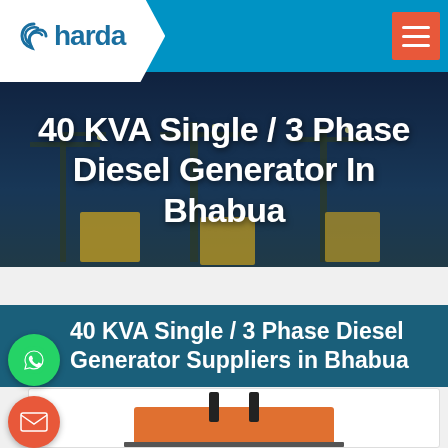Sharda
40 KVA Single / 3 Phase Diesel Generator In Bhabua
40 KVA Single / 3 Phase Diesel Generator Suppliers in Bhabua
[Figure (photo): Product image of a diesel generator (partially visible at bottom)]